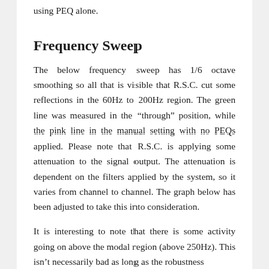using PEQ alone.
Frequency Sweep
The below frequency sweep has 1/6 octave smoothing so all that is visible that R.S.C. cut some reflections in the 60Hz to 200Hz region. The green line was measured in the “through” position, while the pink line in the manual setting with no PEQs applied. Please note that R.S.C. is applying some attenuation to the signal output. The attenuation is dependent on the filters applied by the system, so it varies from channel to channel. The graph below has been adjusted to take this into consideration.
It is interesting to note that there is some activity going on above the modal region (above 250Hz). This isn’t necessarily bad as long as the robustness